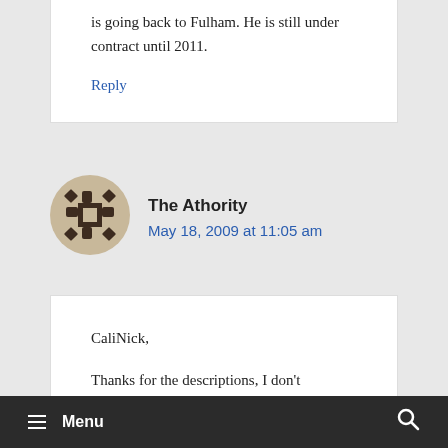is going back to Fulham. He is still under contract until 2011.
Reply
The Athority
May 18, 2009 at 11:05 am
CaliNick,
Thanks for the descriptions, I don't
≡ Menu  🔍